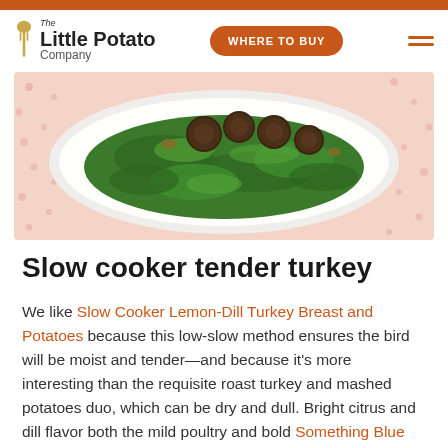The Little Potato Company — WHERE TO BUY
[Figure (photo): A close-up photo of a plate of food featuring roasted small potatoes on a bed of green leafy kale, on a patterned tablecloth.]
Slow cooker tender turkey
We like Slow Cooker Lemon-Dill Turkey Breast and Potatoes because this low-slow method ensures the bird will be moist and tender—and because it's more interesting than the requisite roast turkey and mashed potatoes duo, which can be dry and dull. Bright citrus and dill flavor both the mild poultry and bold Something Blue Creamers, enhanced with garlic, paprika and S&P.